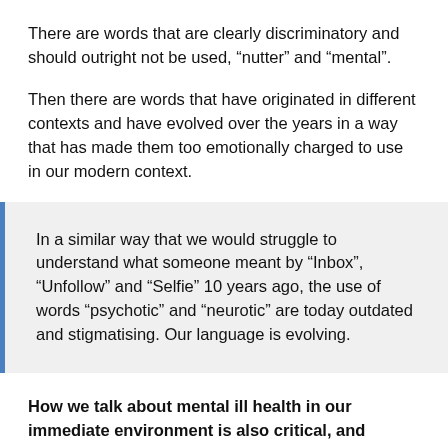There are words that are clearly discriminatory and should outright not be used, “nutter” and “mental”.
Then there are words that have originated in different contexts and have evolved over the years in a way that has made them too emotionally charged to use in our modern context.
In a similar way that we would struggle to understand what someone meant by “Inbox”, “Unfollow” and “Selfie” 10 years ago, the use of words “psychotic” and “neurotic” are today outdated and stigmatising. Our language is evolving.
How we talk about mental ill health in our immediate environment is also critical, and evolving. An important example is suicide. We often say that someone has “committed suicide”.